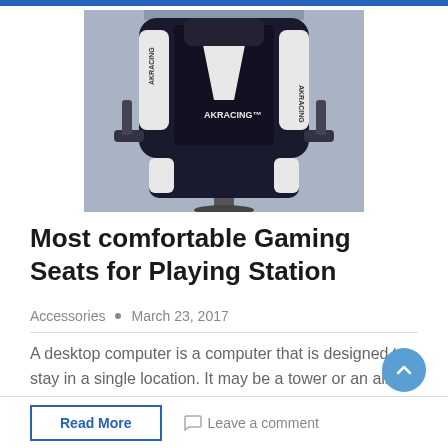[Figure (photo): AKRacing gaming chair in black and white, front view, with armrests and branded headrest]
Most comfortable Gaming Seats for Playing Station
Accessories  •  March 23, 2017
A desktop computer is a computer that is designed to stay in a single location. It may be a tower or an all-in-one PC.